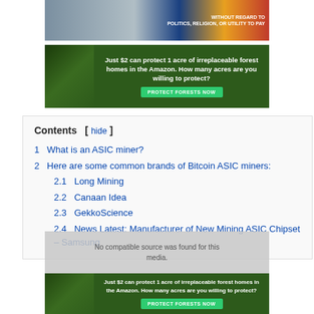[Figure (photo): Airline advertisement banner showing aircraft with colorful livery and text 'WITHOUT REGARD TO POLITICS, RELIGION, OR UTILITY TO PAY']
[Figure (photo): Amazon forest conservation advertisement: 'Just $2 can protect 1 acre of irreplaceable forest homes in the Amazon. How many acres are you willing to protect?' with PROTECT FORESTS NOW button]
Contents
1  What is an ASIC miner?
2  Here are some common brands of Bitcoin ASIC miners:
2.1  Long Mining
2.2  Canaan Idea
2.3  GekkoScience
2.4  News Latest: Manufacturer of New Mining ASIC Chipset – Samsung
[Figure (photo): Second Amazon forest conservation advertisement (repeated): 'Just $2 can protect 1 acre of irreplaceable forest homes in the Amazon. How many acres are you willing to protect?' with PROTECT FORESTS NOW button]